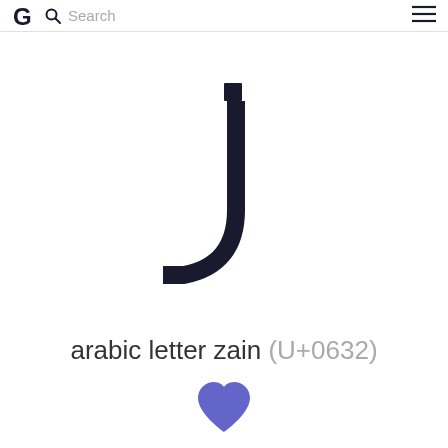G Search
[Figure (illustration): Large Arabic letter Zain (ز) glyph rendered in dark navy blue, showing a curved stroke with a dot above, centered on white background]
arabic letter zain (U+0632)
[Figure (illustration): Purple/blue heart icon (favorite button)]